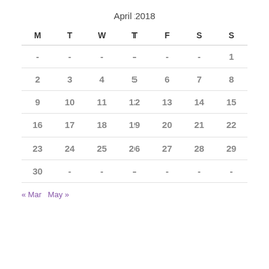April 2018
| M | T | W | T | F | S | S |
| --- | --- | --- | --- | --- | --- | --- |
|  |  |  |  |  |  | 1 |
| 2 | 3 | 4 | 5 | 6 | 7 | 8 |
| 9 | 10 | 11 | 12 | 13 | 14 | 15 |
| 16 | 17 | 18 | 19 | 20 | 21 | 22 |
| 23 | 24 | 25 | 26 | 27 | 28 | 29 |
| 30 |  |  |  |  |  |  |
« Mar   May »